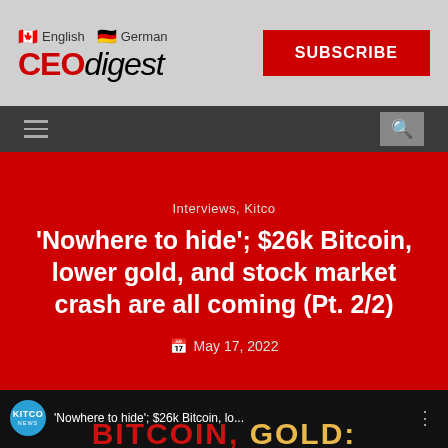English | German | CEO digest | SUBSCRIBE
[Figure (screenshot): Navigation bar with hamburger menu and search icon on dark background]
Interviews, Kitco
'Nowhere to hide'; $26k Bitcoin, lower gold, and stock market crash are all coming (Pt. 2/2)
May 17, 2022
[Figure (screenshot): Kitco News video thumbnail showing 'Nowhere to hide'; $26k Bitcoin, lo... with BITCOIN, GOLD: 'WE HAVE A PROBLEM' text overlay]